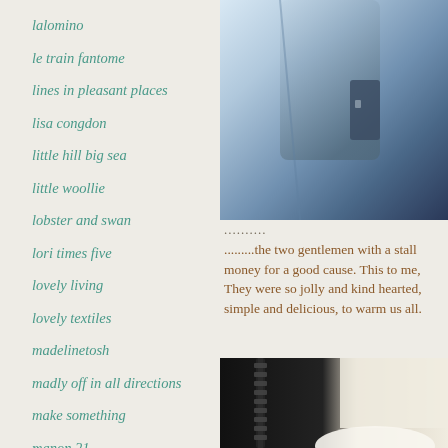lalomino
le train fantome
lines in pleasant places
lisa congdon
little hill big sea
little woollie
lobster and swan
lori times five
lovely living
lovely textiles
madelinetosh
madly off in all directions
make something
manon 21
maydecember
[Figure (photo): Close-up photo of blue jacket/bag fabric with zipper hardware, top portion]
..........
.........the two gentlemen with a stall money for a good cause. This to me, They were so jolly and kind hearted, simple and delicious, to warm us all.
[Figure (photo): Close-up photo of dark jacket with zipper next to cream/white knitted fabric and partial white bowl]